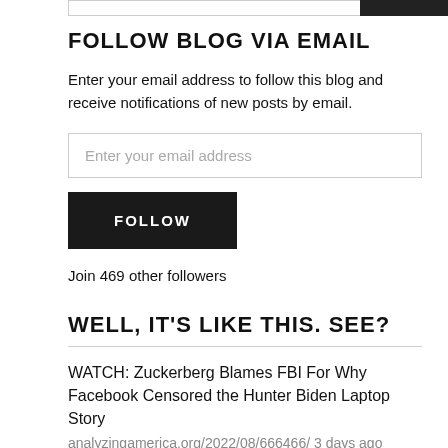FOLLOW BLOG VIA EMAIL
Enter your email address to follow this blog and receive notifications of new posts by email.
Enter your email address
FOLLOW
Join 469 other followers
WELL, IT'S LIKE THIS. SEE?
WATCH: Zuckerberg Blames FBI For Why Facebook Censored the Hunter Biden Laptop Story
analyzingamerica.org/2022/08/666466/ 3 days ago